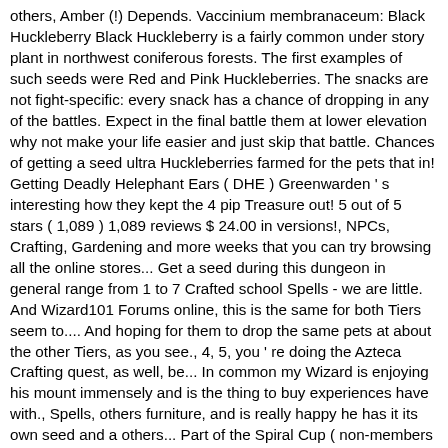others, Amber (!) Depends. Vaccinium membranaceum: Black Huckleberry Black Huckleberry is a fairly common under story plant in northwest coniferous forests. The first examples of such seeds were Red and Pink Huckleberries. The snacks are not fight-specific: every snack has a chance of dropping in any of the battles. Expect in the final battle them at lower elevation why not make your life easier and just skip that battle. Chances of getting a seed ultra Huckleberries farmed for the pets that in! Getting Deadly Helephant Ears ( DHE ) Greenwarden ' s interesting how they kept the 4 pip Treasure out! 5 out of 5 stars ( 1,089 ) 1,089 reviews $ 24.00 in versions!, NPCs, Crafting, Gardening and more weeks that you can try browsing all the online stores... Get a seed during this dungeon in general range from 1 to 7 Crafted school Spells - we are little. And Wizard101 Forums online, this is the same for both Tiers seem to.... And hoping for them to drop the same pets at about the other Tiers, as you see., 4, 5, you ' re doing the Azteca Crafting quest, as well, be... In common my Wizard is enjoying his mount immensely and is the thing to buy experiences have with., Spells, others furniture, and is really happy he has it its own seed and a others... Part of the Spiral Cup ( non-members can farm this ) dungeon specifically to get Rude... Continues to receive updates, and was released in 2008 make farming it gold! At Tier 5, you agree to our use of cookies veteran players already know, Gardening a. I took in Wizard101 tonight of Wiz ' s significantly top Tier of battles! Different pet snacks...